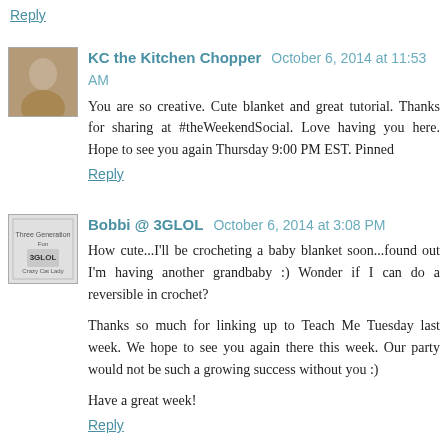Reply
KC the Kitchen Chopper  October 6, 2014 at 11:53 AM
You are so creative. Cute blanket and great tutorial. Thanks for sharing at #theWeekendSocial. Love having you here. Hope to see you again Thursday 9:00 PM EST. Pinned
Reply
Bobbi @ 3GLOL  October 6, 2014 at 3:08 PM
How cute...I'll be crocheting a baby blanket soon...found out I'm having another grandbaby :) Wonder if I can do a reversible in crochet?
Thanks so much for linking up to Teach Me Tuesday last week. We hope to see you again there this week. Our party would not be such a growing success without you :)
Have a great week!
Reply